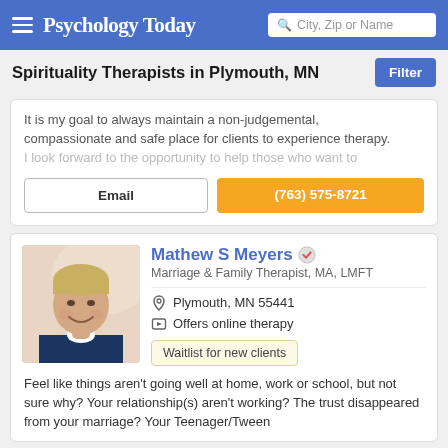Psychology Today — City, Zip or Name search
Spirituality Therapists in Plymouth, MN
It is my goal to always maintain a non-judgemental, compassionate and safe place for clients to experience therapy. I look forward to the opportunity to help those who want to
Email | (763) 575-8721
Mathew S Meyers — Marriage & Family Therapist, MA, LMFT — Plymouth, MN 55441 — Offers online therapy — Waitlist for new clients
Feel like things aren't going well at home, work or school, but not sure why? Your relationship(s) aren't working? The trust disappeared from your marriage? Your Teenager/Tween